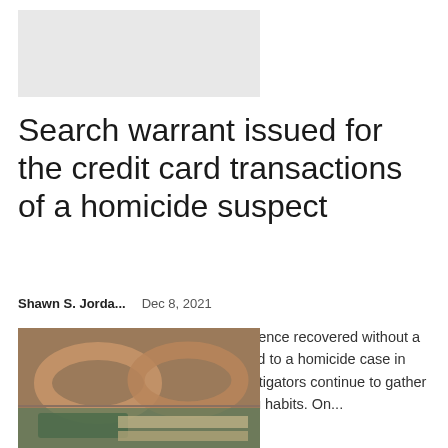[Figure (photo): Gray placeholder image at top of article]
Search warrant issued for the credit card transactions of a homicide suspect
Shawn S. Jorda...    Dec 8, 2021
WILKES-BARRE - While alleged evidence recovered without a search warrant remains in limbo linked to a homicide case in Wilkes-Barre Township in 2018, investigators continue to gather information on the suspect's spending habits. On...
[Figure (photo): Photo of sunglasses, passport, and cash/money bills on a surface]